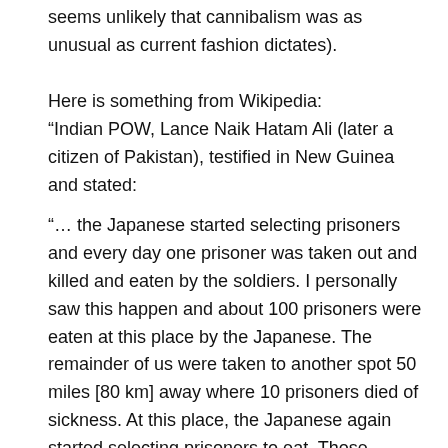seems unlikely that cannibalism was as unusual as current fashion dictates).
Here is something from Wikipedia: “Indian POW, Lance Naik Hatam Ali (later a citizen of Pakistan), testified in New Guinea and stated:
“… the Japanese started selecting prisoners and every day one prisoner was taken out and killed and eaten by the soldiers. I personally saw this happen and about 100 prisoners were eaten at this place by the Japanese. The remainder of us were taken to another spot 50 miles [80 km] away where 10 prisoners died of sickness. At this place, the Japanese again started selecting prisoners to eat. Those selected were taken to a hut where their flesh was